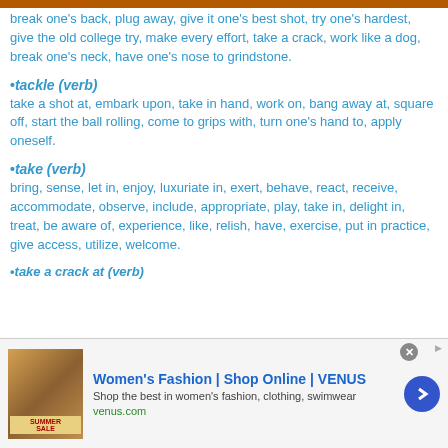break one's back, plug away, give it one's best shot, try one's hardest, give the old college try, make every effort, take a crack, work like a dog, break one's neck, have one's nose to grindstone.
•tackle (verb)
take a shot at, embark upon, take in hand, work on, bang away at, square off, start the ball rolling, come to grips with, turn one's hand to, apply oneself.
•take (verb)
bring, sense, let in, enjoy, luxuriate in, exert, behave, react, receive, accommodate, observe, include, appropriate, play, take in, delight in, treat, be aware of, experience, like, relish, have, exercise, put in practice, give access, utilize, welcome.
•take a crack at (verb)
[Figure (screenshot): Advertisement banner for Women's Fashion Shop Online VENUS with summer sale image and arrow button]